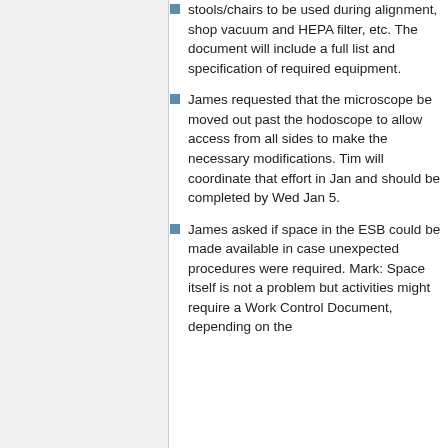stools/chairs to be used during alignment, shop vacuum and HEPA filter, etc. The document will include a full list and specification of required equipment.
James requested that the microscope be moved out past the hodoscope to allow access from all sides to make the necessary modifications. Tim will coordinate that effort in Jan and should be completed by Wed Jan 5.
James asked if space in the ESB could be made available in case unexpected procedures were required. Mark: Space itself is not a problem but activities might require a Work Control Document, depending on the